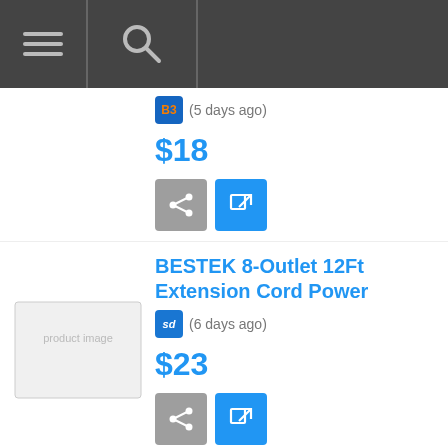Navigation bar with menu and search icons
(5 days ago) $18
BESTEK 8-Outlet 12Ft Extension Cord Power
(6 days ago) $23
Monoprice USB-C Power Strip Pad 2 Sets For $35
(4 weeks ago)